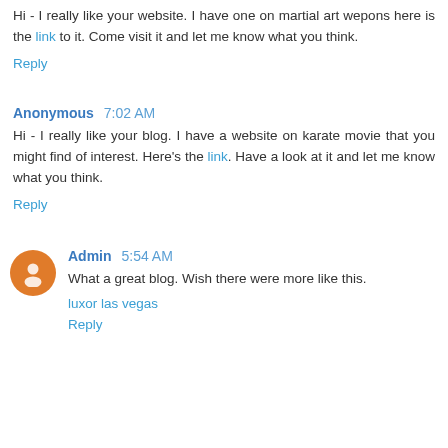Hi - I really like your website. I have one on martial art wepons here is the link to it. Come visit it and let me know what you think.
Reply
Anonymous 7:02 AM
Hi - I really like your blog. I have a website on karate movie that you might find of interest. Here's the link. Have a look at it and let me know what you think.
Reply
Admin 5:54 AM
What a great blog. Wish there were more like this.
luxor las vegas
Reply